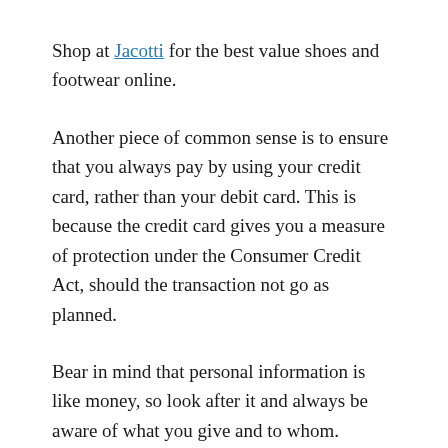Shop at Jacotti for the best value shoes and footwear online.
Another piece of common sense is to ensure that you always pay by using your credit card, rather than your debit card. This is because the credit card gives you a measure of protection under the Consumer Credit Act, should the transaction not go as planned.
Bear in mind that personal information is like money, so look after it and always be aware of what you give and to whom.
DadminD / 21 March 2016